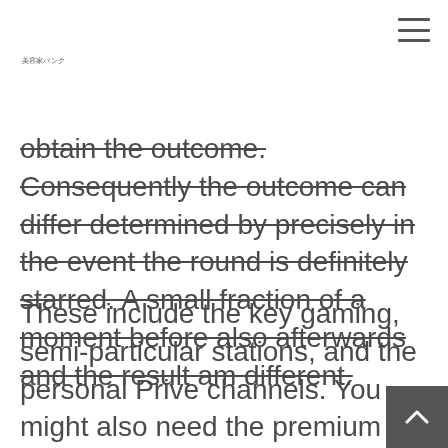美容家バンク
obtain the outcome. Consequently the outcome can differ determined by precisely in the event the round is definitely starred. A small fraction of a moment before also afterwards and the result am different.
These include the key gaming, semi-particular stations, and the personal Prive channels. You might also need the premium Supanova Niche Video gaming which offers digital gaming table regard thirty systems. Rick twenty-one, live